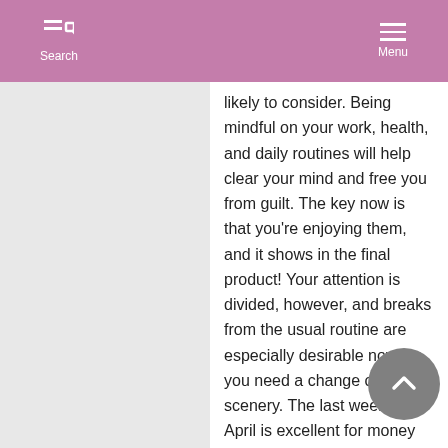Search  Menu
likely to consider. Being mindful on your work, health, and daily routines will help clear your mind and free you from guilt. The key now is that you're enjoying them, and it shows in the final product! Your attention is divided, however, and breaks from the usual routine are especially desirable now, as you need a change of scenery. The last week of April is excellent for money matters, particularly new money-making ideas. Love can become more serious or committed this month.

See our Time Line Forecast report for a